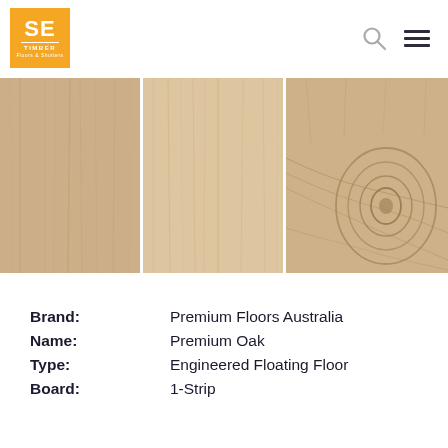SE Timber Floors & Shutters
[Figure (photo): Three wood flooring planks side by side showing light oak engineered timber with natural grain patterns. Left panel has straight grain, center panel has lighter uniform grain, right panel shows prominent wood knot pattern.]
| Brand: | Premium Floors Australia |
| Name: | Premium Oak |
| Type: | Engineered Floating Floor |
| Board: | 1-Strip |